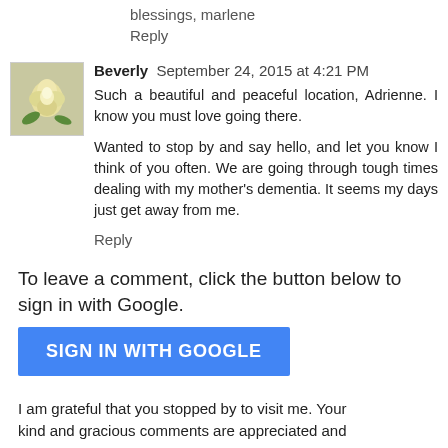blessings, marlene
Reply
[Figure (photo): Small avatar photo of a yellow/white rose flower]
Beverly  September 24, 2015 at 4:21 PM
Such a beautiful and peaceful location, Adrienne. I know you must love going there.

Wanted to stop by and say hello, and let you know I think of you often. We are going through tough times dealing with my mother's dementia. It seems my days just get away from me.
Reply
To leave a comment, click the button below to sign in with Google.
[Figure (other): SIGN IN WITH GOOGLE blue button]
I am grateful that you stopped by to visit me. Your kind and gracious comments are appreciated and